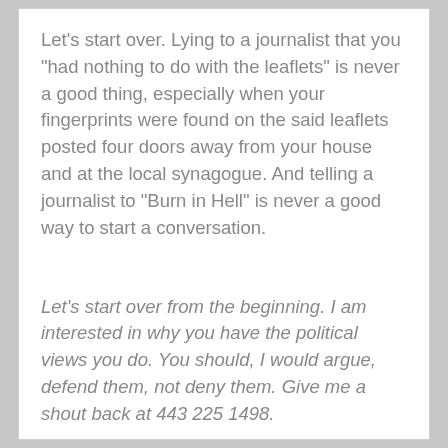Let's start over. Lying to a journalist that you "had nothing to do with the leaflets" is never a good thing, especially when your fingerprints were found on the said leaflets posted four doors away from your house and at the local synagogue. And telling a journalist to "Burn in Hell" is never a good way to start a conversation.
Let's start over from the beginning. I am interested in why you have the political views you do. You should, I would argue, defend them, not deny them. Give me a shout back at 443 225 1498.